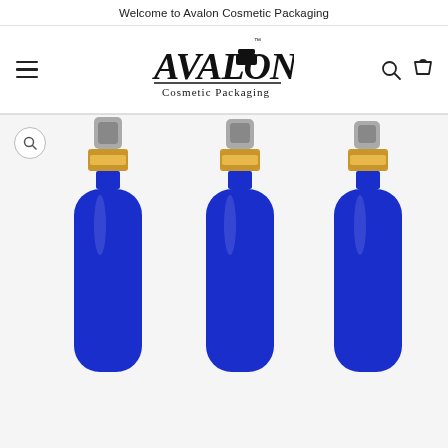Welcome to Avalon Cosmetic Packaging
[Figure (logo): Avalon Cosmetic Packaging logo with stylized handwritten text and jar icon]
[Figure (photo): Three cobalt blue glass spray bottles with gold and grey pump dispensers, arranged side by side on white background]